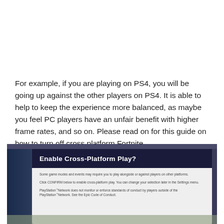For example, if you are playing on PS4, you will be going up against the other players on PS4. It is able to help to keep the experience more balanced, as maybe you feel PC players have an unfair benefit with higher frame rates, and so on. Please read on for this guide on how to turn off cross platform Fortnite.
[Figure (screenshot): Screenshot of a Fortnite game dialog titled 'Enable Cross-Platform Play?' with text explaining that some game modes and events may require playing alongside or against players on other platforms, instructions to click CONFIRM to enable cross-platform play, and a PlayStation Network disclaimer.]